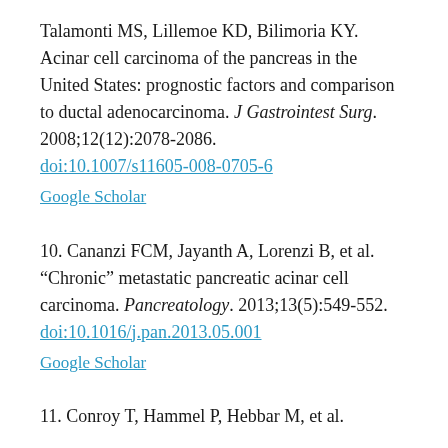Talamonti MS, Lillemoe KD, Bilimoria KY. Acinar cell carcinoma of the pancreas in the United States: prognostic factors and comparison to ductal adenocarcinoma. J Gastrointest Surg. 2008;12(12):2078-2086. doi:10.1007/s11605-008-0705-6
Google Scholar
10. Cananzi FCM, Jayanth A, Lorenzi B, et al. “Chronic” metastatic pancreatic acinar cell carcinoma. Pancreatology. 2013;13(5):549-552. doi:10.1016/j.pan.2013.05.001
Google Scholar
11. Conroy T, Hammel P, Hebbar M, et al.